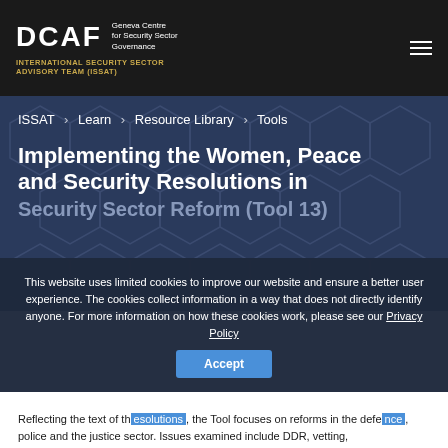DCAF Geneva Centre for Security Sector Governance — INTERNATIONAL SECURITY SECTOR ADVISORY TEAM (ISSAT)
ISSAT › Learn › Resource Library › Tools
Implementing the Women, Peace and Security Resolutions in Security Sector Reform (Tool 13)
This website uses limited cookies to improve our website and ensure a better user experience. The cookies collect information in a way that does not directly identify anyone. For more information on how these cookies work, please see our Privacy Policy
Accept
Reflecting the text of the resolutions, the Tool focuses on reforms in the defence, police and the justice sector. Issues examined include DDR, vetting,